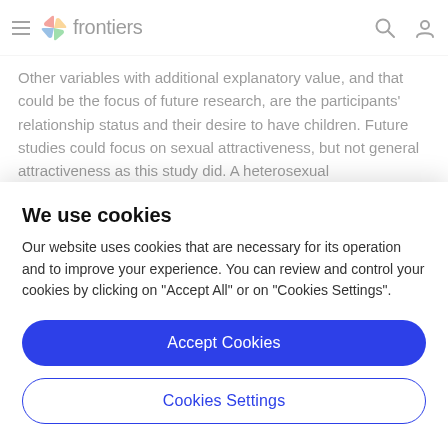frontiers
Other variables with additional explanatory value, and that could be the focus of future research, are the participants' relationship status and their desire to have children. Future studies could focus on sexual attractiveness, but not general attractiveness as this study did. A heterosexual
We use cookies
Our website uses cookies that are necessary for its operation and to improve your experience. You can review and control your cookies by clicking on "Accept All" or on "Cookies Settings".
Accept Cookies
Cookies Settings